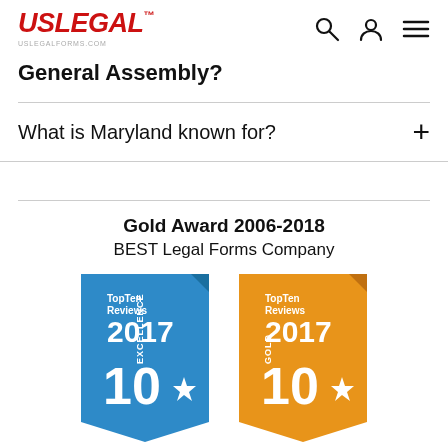USLegal uslegalforms.com
General Assembly?
What is Maryland known for?
Gold Award 2006-2018
BEST Legal Forms Company
[Figure (illustration): Two TopTen Reviews 2017 award badges — a blue Excellence badge and an orange Gold badge, each showing the number 10 with a star, arranged side by side.]
11 Year Winner in all Categories:
Forms, Features, Customer Service
and Ease of Use